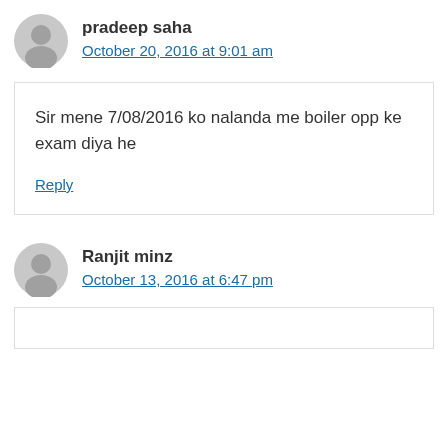pradeep saha
October 20, 2016 at 9:01 am
Sir mene 7/08/2016 ko nalanda me boiler opp ke exam diya he
Reply
Ranjit minz
October 13, 2016 at 6:47 pm